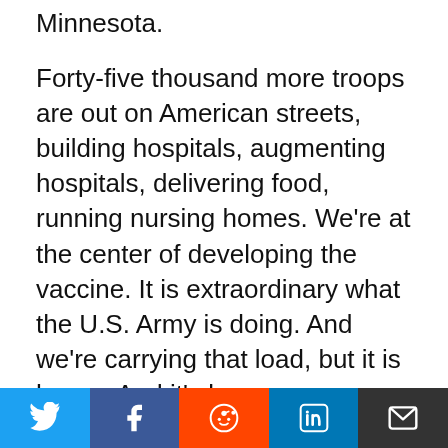Minnesota.
Forty-five thousand more troops are out on American streets, building hospitals, augmenting hospitals, delivering food, running nursing homes. We're at the center of developing the vaccine. It is extraordinary what the U.S. Army is doing. And we're carrying that load, but it is heavy. And it's been an enormous pressure on Soldiers and their families.
And what concerns me is that when you have an OPTEMPO as high now as you did during the surge in 2008, '09, '10, those (inaudible) ratios take their toll, and definitely for 19 years. So we're doing what we can to reduce the OPTEMPO. We've—it's a—
[Figure (other): Social media sharing bar with Twitter, Facebook, Reddit, LinkedIn, and email icons]